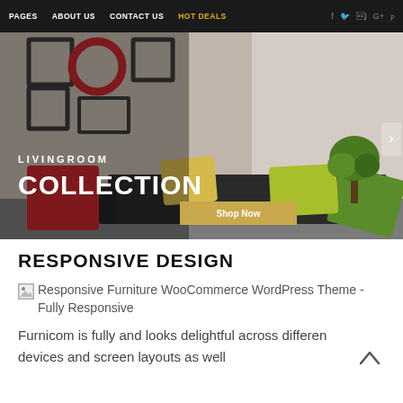PAGES | ABOUT US | CONTACT US | HOT DEALS
[Figure (screenshot): Hero banner for a furniture WooCommerce website showing a livingroom collection with picture frames on the wall, colorful sofa cushions, a plant, and overlay text reading 'LIVINGROOM COLLECTION' with a 'Shop Now' button. Navigation bar at top with links: PAGES, ABOUT US, CONTACT US, HOT DEALS, and social icons.]
RESPONSIVE DESIGN
[Figure (photo): Broken image placeholder with alt text: Responsive Furniture WooCommerce WordPress Theme - Fully Responsive]
Furnicom is fully and looks delightful across differen devices and screen layouts as well